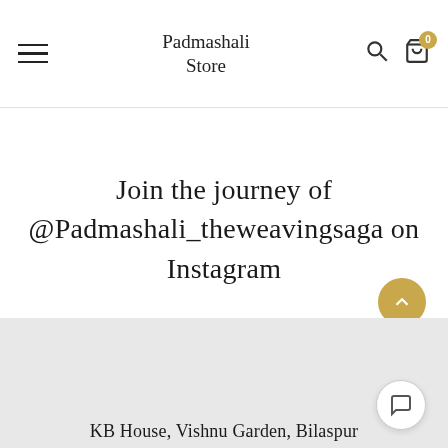Padmashali Store
Join the journey of @Padmashali_theweavingsaga on Instagram
KB House, Vishnu Garden, Bilaspur